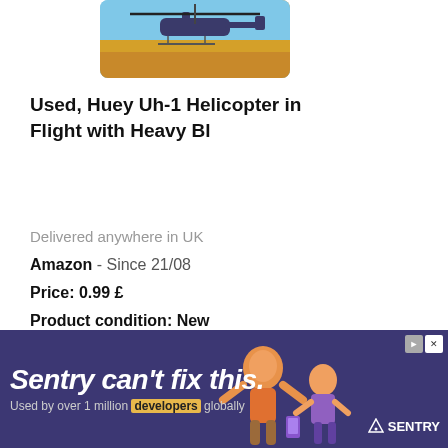[Figure (illustration): Product image of Huey Uh-1 Helicopter in flight, colorful illustration with blue sky and orange/brown terrain]
Used, Huey Uh-1 Helicopter in Flight with Heavy Bl
Delivered anywhere in UK
Amazon  - Since 21/08
Price: 0.99 £
Product condition: New
See details
[Figure (screenshot): Advertisement banner for Sentry. Text: Sentry can't fix this. Used by over 1 million developers globally. Features Sentry logo and illustrated characters.]